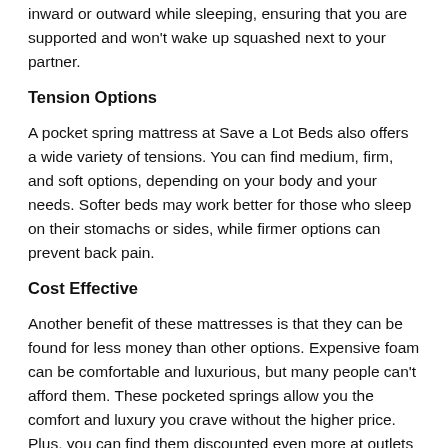inward or outward while sleeping, ensuring that you are supported and won't wake up squashed next to your partner.
Tension Options
A pocket spring mattress at Save a Lot Beds also offers a wide variety of tensions. You can find medium, firm, and soft options, depending on your body and your needs. Softer beds may work better for those who sleep on their stomachs or sides, while firmer options can prevent back pain.
Cost Effective
Another benefit of these mattresses is that they can be found for less money than other options. Expensive foam can be comfortable and luxurious, but many people can't afford them. These pocketed springs allow you the comfort and luxury you crave without the higher price. Plus, you can find them discounted even more at outlets or warehouses.